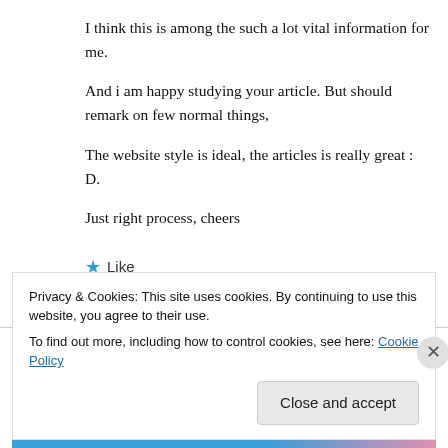I think this is among the such a lot vital information for me. And i am happy studying your article. But should remark on few normal things, The website style is ideal, the articles is really great : D. Just right process, cheers
★ Like
↪ Reply
Privacy & Cookies: This site uses cookies. By continuing to use this website, you agree to their use.
To find out more, including how to control cookies, see here: Cookie Policy
Close and accept